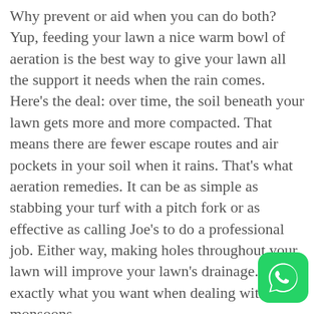Why prevent or aid when you can do both? Yup, feeding your lawn a nice warm bowl of aeration is the best way to give your lawn all the support it needs when the rain comes. Here's the deal: over time, the soil beneath your lawn gets more and more compacted. That means there are fewer escape routes and air pockets in your soil when it rains. That's what aeration remedies. It can be as simple as stabbing your turf with a pitch fork or as effective as calling Joe's to do a professional job. Either way, making holes throughout your lawn will improve your lawn's drainage. That's exactly what you want when dealing with monsoons.
[Figure (logo): WhatsApp logo: green rounded square with white speech bubble phone icon]